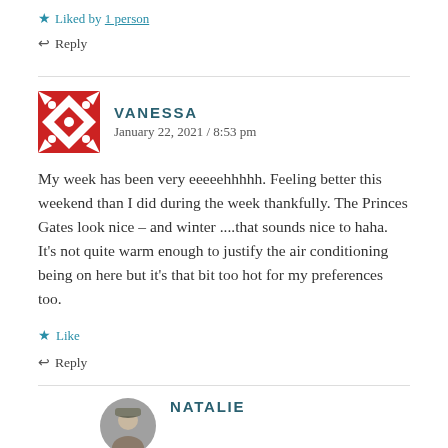★ Liked by 1 person
↩ Reply
VANESSA
January 22, 2021 / 8:53 pm
My week has been very eeeeehhhhh. Feeling better this weekend than I did during the week thankfully. The Princes Gates look nice – and winter ....that sounds nice to haha. It's not quite warm enough to justify the air conditioning being on here but it's that bit too hot for my preferences too.
★ Like
↩ Reply
NATALIE